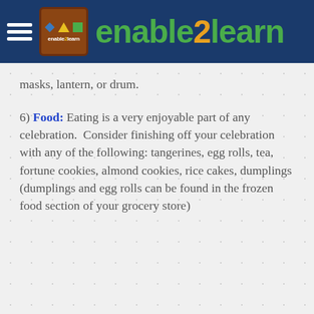enable2learn
masks, lantern, or drum.
6) Food: Eating is a very enjoyable part of any celebration.  Consider finishing off your celebration with any of the following: tangerines, egg rolls, tea, fortune cookies, almond cookies, rice cakes, dumplings (dumplings and egg rolls can be found in the frozen food section of your grocery store)